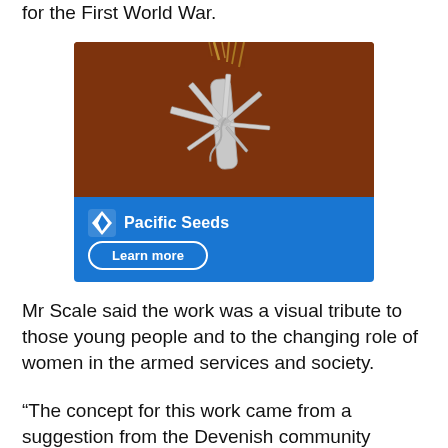for the First World War.
[Figure (illustration): Advertisement for Pacific Seeds showing a Swiss army knife with multiple tools open, spread out on a rust/brown textured background. The lower portion has a blue background with the Pacific Seeds logo (white diamond/leaf icon) and company name in white bold text, plus a 'Learn more' button with white border.]
Mr Scale said the work was a visual tribute to those young people and to the changing role of women in the armed services and society.
“The concept for this work came from a suggestion from the Devenish community